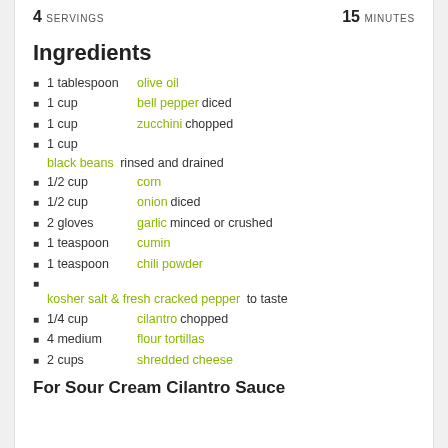4 SERVINGS    15 MINUTES
Ingredients
1 tablespoon  olive oil
1 cup  bell pepper diced
1 cup  zucchini chopped
1 cup  black beans rinsed and drained
1/2 cup  corn
1/2 cup  onion diced
2 gloves  garlic minced or crushed
1 teaspoon  cumin
1 teaspoon  chili powder
kosher salt & fresh cracked pepper to taste
1/4 cup  cilantro chopped
4 medium  flour tortillas
2 cups  shredded cheese
For Sour Cream Cilantro Sauce